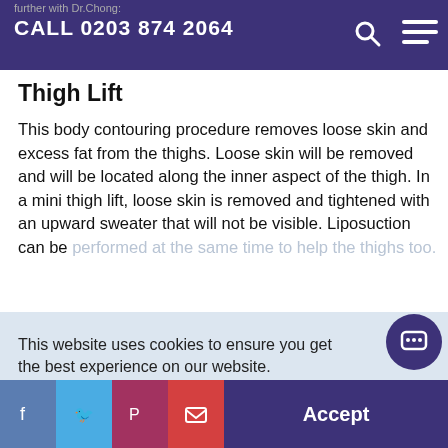further with Dr.Chong: CALL 0203 874 2064
Thigh Lift
This body contouring procedure removes loose skin and excess fat from the thighs. Loose skin will be removed and will be located along the inner aspect of the thigh. In a mini thigh lift, loose skin is removed and tightened with an upward sweater that will not be visible. Liposuction can be performed at the same time to help the thighs too.
This website uses cookies to ensure you get the best experience on our website.
Learn more
Share this page...
Accept